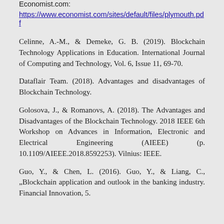Economist.com:
https://www.economist.com/sites/default/files/plymouth.pdf
Celinne, A.-M., & Demeke, G. B. (2019). Blockchain Technology Applications in Education. International Journal of Computing and Technology, Vol. 6, Issue 11, 69-70.
Dataflair Team. (2018). Advantages and disadvantages of Blockchain Technology.
Golosova, J., & Romanovs, A. (2018). The Advantages and Disadvantages of the Blockchain Technology. 2018 IEEE 6th Workshop on Advances in Information, Electronic and Electrical Engineering (AIEEE) (p. 10.1109/AIEEE.2018.8592253). Vilnius: IEEE.
Guo, Y., & Chen, L. (2016). Guo, Y., & Liang, C., „Blockchain application and outlook in the banking industry. Financial Innovation, 5.